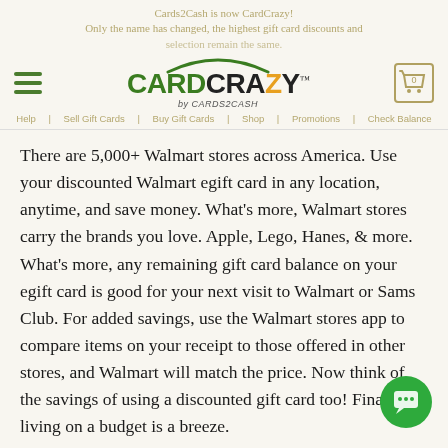Cards2Cash is now CardCrazy! Only the name has changed, the highest gift card discounts and selection remain the same. Help | Sell Gift Cards | Buy Gift Cards | Shop | Promotions | Check Balance
[Figure (logo): CardCrazy by CARDS2CASH logo with green and black text, orange Z, trademark symbol, and shopping cart icon with 0 items]
There are 5,000+ Walmart stores across America. Use your discounted Walmart egift card in any location, anytime, and save money. What's more, Walmart stores carry the brands you love. Apple, Lego, Hanes, & more. What's more, any remaining gift card balance on your egift card is good for your next visit to Walmart or Sams Club. For added savings, use the Walmart stores app to compare items on your receipt to those offered in other stores, and Walmart will match the price. Now think of the savings of using a discounted gift card too! Finally, living on a budget is a breeze.
A discounted Walmart egift card is a sure way to save money when it counts. And because gift cards can carry a face